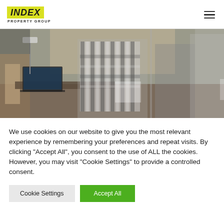[Figure (logo): Index Property Group logo: yellow badge with bold italic INDEX text, PROPERTY GROUP subtitle below]
[Figure (photo): Office scene with people working at desks with laptops, glass partitions visible, black and white checkered shirt visible on person in foreground]
We use cookies on our website to give you the most relevant experience by remembering your preferences and repeat visits. By clicking "Accept All", you consent to the use of ALL the cookies. However, you may visit "Cookie Settings" to provide a controlled consent.
Cookie Settings
Accept All